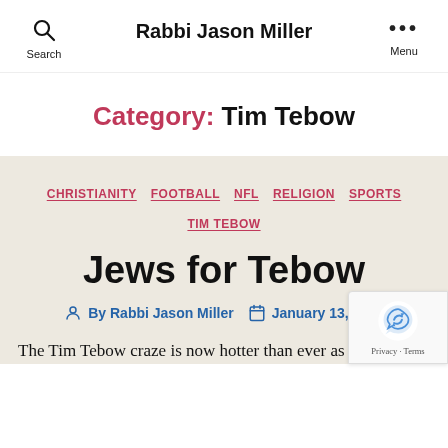Rabbi Jason Miller
Category: Tim Tebow
CHRISTIANITY  FOOTBALL  NFL  RELIGION  SPORTS  TIM TEBOW
Jews for Tebow
By Rabbi Jason Miller   January 13, 2012
The Tim Tebow craze is now hotter than ever as the